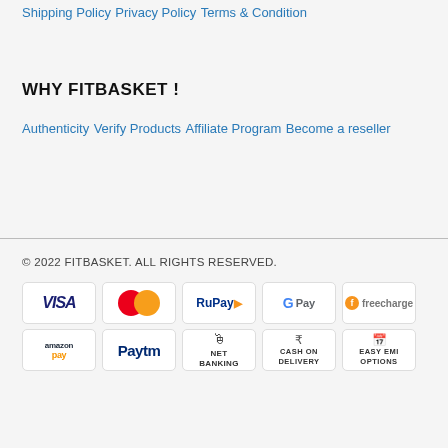Shipping Policy
Privacy Policy
Terms & Condition
WHY FITBASKET !
Authenticity
Verify Products
Affiliate Program
Become a reseller
© 2022 FITBASKET. ALL RIGHTS RESERVED.
[Figure (logo): Payment method icons: VISA, Mastercard, RuPay, Google Pay, Freecharge, Amazon Pay, Paytm, Net Banking, Cash on Delivery, Easy EMI Options]